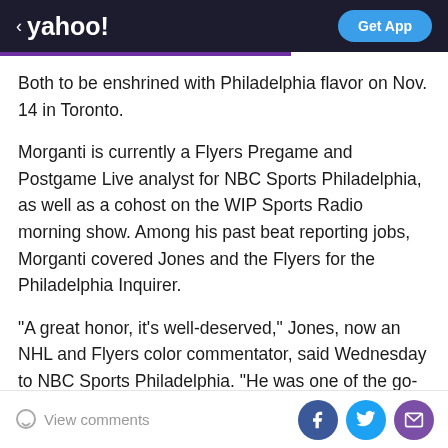< yahoo!  Get App
Both to be enshrined with Philadelphia flavor on Nov. 14 in Toronto.
Morganti is currently a Flyers Pregame and Postgame Live analyst for NBC Sports Philadelphia, as well as a cohost on the WIP Sports Radio morning show. Among his past beat reporting jobs, Morganti covered Jones and the Flyers for the Philadelphia Inquirer.
"A great honor, it's well-deserved," Jones, now an NHL and Flyers color commentator, said Wednesday to NBC Sports Philadelphia. "He was one of the go-to guys that all of us would look up, read and follow before social media gave you access to follow everybody. Al was
View comments